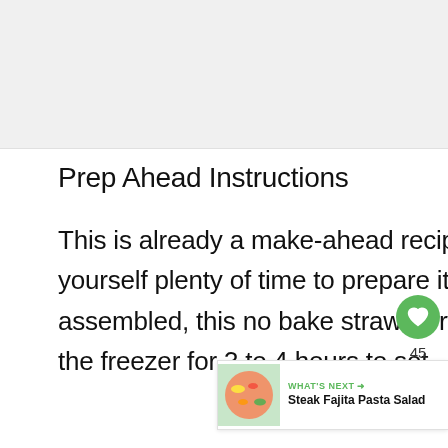[Figure (photo): Recipe image placeholder at top of page]
Prep Ahead Instructions
This is already a make-ahead recipe, so be sure to give yourself plenty of time to prepare it! Once everything is assembled, this no bake strawberry dessert will need to chill in the freezer for 3 to 4 hours to set.